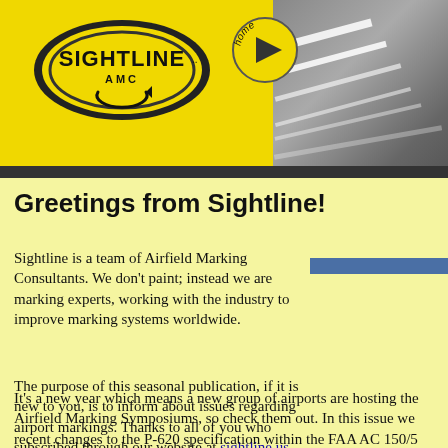[Figure (logo): Sightline AMC logo banner with yellow background, oval logo on left, home button with arrow, and grey road/airfield photo on right]
Greetings from Sightline!
Sightline is a team of Airfield Marking Consultants. We don't paint; instead we are marking experts, working with the industry to improve marking systems worldwide.
The purpose of this seasonal publication, if it is new to you, is to inform about issues regarding airport markings. Thanks to all of you who subscribed through our website at sightline.us.
It's a new year which means a new group of airports are hosting the Airfield Marking Symposiums, so check them out. In this issue we recent changes to the P-620 specification within the FAA AC 150/5 which are important to note. Enjoy!